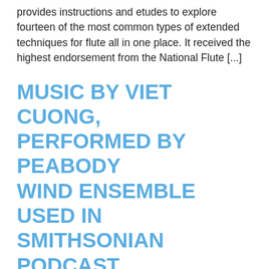provides instructions and etudes to explore fourteen of the most common types of extended techniques for flute all in one place. It received the highest endorsement from the National Flute [...]
MUSIC BY VIET CUONG, PERFORMED BY PEABODY WIND ENSEMBLE USED IN SMITHSONIAN PODCAST
Articulated: Dispatches from the Archives of American Art is a new podcast series from the Smithsonian's Archives of American Art which uses music from Sound and Smoke, composed by Viet Cuong (BM '11, MM '12, Composition) and performed by the Peabody Wind Ensemble with Harlan Parker conducting.